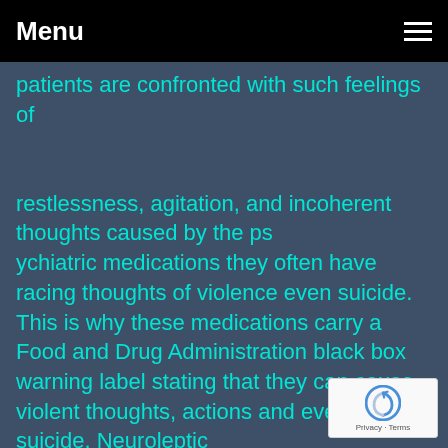Menu
patients are confronted with such feelings of restlessness, agitation, and incoherent thoughts caused by the psychiatric medications they often have racing thoughts of violence even suicide. This is why these medications carry a Food and Drug Administration black box warning label stating that they can cause violent thoughts, actions and even suicide. Neuroleptic adverse reactions are related to behavioral changes such as akathisia. In the late